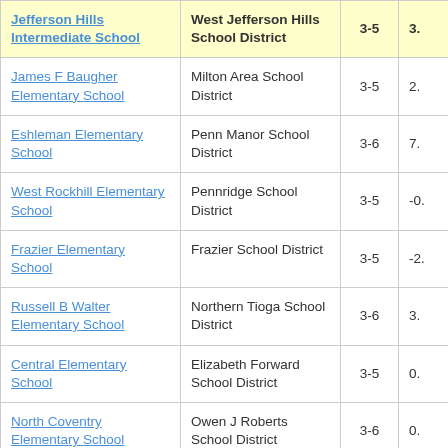| School | District | Grades | Value |
| --- | --- | --- | --- |
| Jefferson Hills Intermediate School | West Jefferson Hills School District | 3-5 | 3. |
| James F Baugher Elementary School | Milton Area School District | 3-5 | 2. |
| Eshleman Elementary School | Penn Manor School District | 3-6 | 7. |
| West Rockhill Elementary School | Pennridge School District | 3-5 | -0. |
| Frazier Elementary School | Frazier School District | 3-5 | -2. |
| Russell B Walter Elementary School | Northern Tioga School District | 3-6 | 3. |
| Central Elementary School | Elizabeth Forward School District | 3-5 | 0. |
| North Coventry Elementary School | Owen J Roberts School District | 3-6 | 0. |